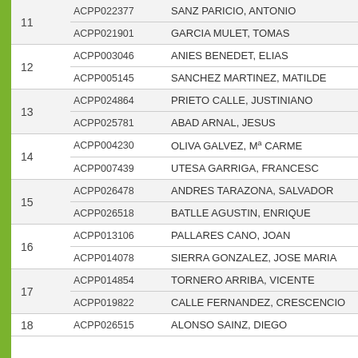| # | Code | Name |
| --- | --- | --- |
| 11 | ACPP022377 | SANZ PARICIO, ANTONIO |
| 11 | ACPP021901 | GARCIA MULET, TOMAS |
| 12 | ACPP003046 | ANIES BENEDET, ELIAS |
| 12 | ACPP005145 | SANCHEZ MARTINEZ, MATILDE |
| 13 | ACPP024864 | PRIETO CALLE, JUSTINIANO |
| 13 | ACPP025781 | ABAD ARNAL, JESUS |
| 14 | ACPP004230 | OLIVA GALVEZ, Mª CARME |
| 14 | ACPP007439 | UTESA GARRIGA, FRANCESC |
| 15 | ACPP026478 | ANDRES TARAZONA, SALVADOR |
| 15 | ACPP026518 | BATLLE AGUSTIN, ENRIQUE |
| 16 | ACPP013106 | PALLARES CANO, JOAN |
| 16 | ACPP014078 | SIERRA GONZALEZ, JOSE MARIA |
| 17 | ACPP014854 | TORNERO ARRIBA, VICENTE |
| 17 | ACPP019822 | CALLE FERNANDEZ, CRESCENCIO |
| 18 | ACPP026515 | ALONSO SAINZ, DIEGO |